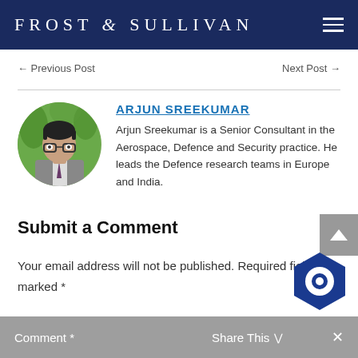FROST & SULLIVAN
← Previous Post    Next Post →
ARJUN SREEKUMAR
Arjun Sreekumar is a Senior Consultant in the Aerospace, Defence and Security practice. He leads the Defence research teams in Europe and India.
Submit a Comment
Your email address will not be published. Required fields are marked *
Comment *    Share This    ×